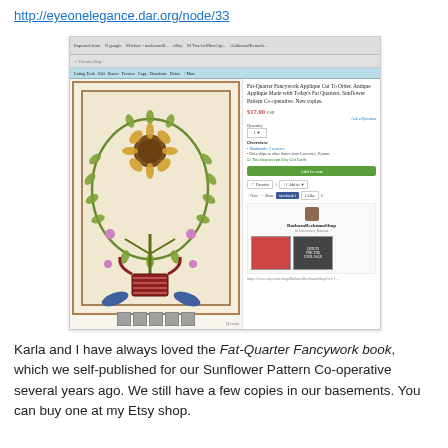http://eyeonelegance.dar.org/node/33
[Figure (screenshot): Screenshot of an Etsy product listing for 'Fat-Quarter Fancywork Applique Cut To Order. Antique Applique Made with Today's Fat Quarters. Sunflower Pattern Co-operative. New copies.' priced at $17.00, showing a quilt with floral applique design featuring a sunflower and lyre motif surrounded by a wreath of leaves, with seller section showing books for sale.]
Karla and I have always loved the Fat-Quarter Fancywork book, which we self-published for our Sunflower Pattern Co-operative several years ago. We still have a few copies in our basements. You can buy one at my Etsy shop.